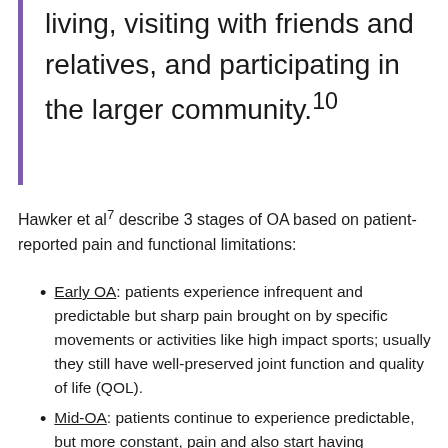living, visiting with friends and relatives, and participating in the larger community.10
Hawker et al7 describe 3 stages of OA based on patient-reported pain and functional limitations:
Early OA: patients experience infrequent and predictable but sharp pain brought on by specific movements or activities like high impact sports; usually they still have well-preserved joint function and quality of life (QOL).
Mid-OA: patients continue to experience predictable, but more constant, pain and also start having unpredictable symptoms such as locking. These symptoms begin to impair functionality, participation in activities, and QOL.
Advanced OA: patients have persistent dull and aching...